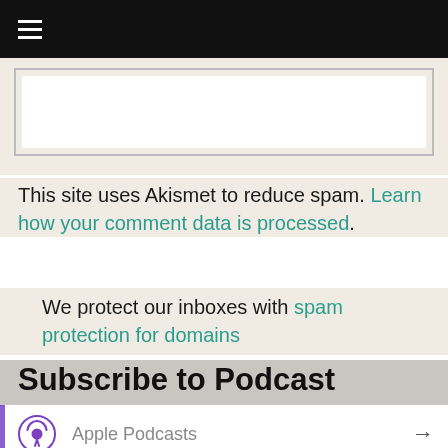Navigation menu (hamburger icon)
This site uses Akismet to reduce spam. Learn how your comment data is processed.
We protect our inboxes with spam protection for domains
Subscribe to Podcast
Apple Podcasts
Google Podcasts